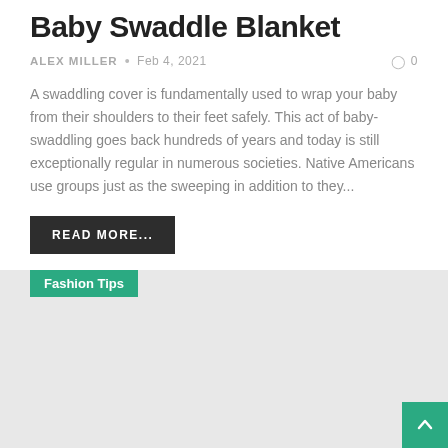Baby Swaddle Blanket
ALEX MILLER • Feb 4, 2021 ◯ 0
A swaddling cover is fundamentally used to wrap your baby from their shoulders to their feet safely. This act of baby-swaddling goes back hundreds of years and today is still exceptionally regular in numerous societies. Native Americans use groups just as the sweeping in addition to they...
READ MORE...
Fashion Tips